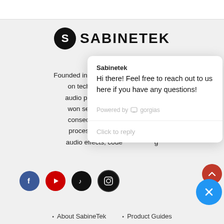[Figure (logo): SabineTek logo with black circle containing stylized S and bold uppercase SABINETEK text]
Founded in 2014, S... on technologies... audio processing,... won seven Inn... consecutive year... processing algori... audio effects, code...
[Figure (screenshot): Chat popup widget showing 'Sabinetek' sender name with message 'Hi there! Feel free to reach out to us here if you have any questions!' powered by gorgias, with 'Click to reply' input area]
[Figure (illustration): Social media icons row: Facebook (blue), YouTube (red), TikTok (black), Instagram (black). Plus red scroll-up button and blue close/X button.]
About SabineTek
Product Guides